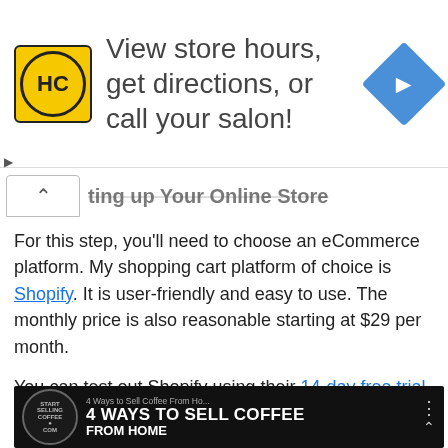[Figure (screenshot): Advertisement banner for Hair Club (HC) showing logo, text 'View store hours, get directions, or call your salon!' and a blue navigation diamond icon]
...ting up Your Online Store
For this step, you'll need to choose an eCommerce platform. My shopping cart platform of choice is Shopify. It is user-friendly and easy to use. The monthly price is also reasonable starting at $29 per month.

You can test out Shopify using their 14-day free trial.
[Figure (screenshot): Video thumbnail: '4 Ways to Sell Coffee From Home' with dark chalkboard background, large yellow text '4 WAYS TO SELL COFFEE FROM HOME', circular logo on left]